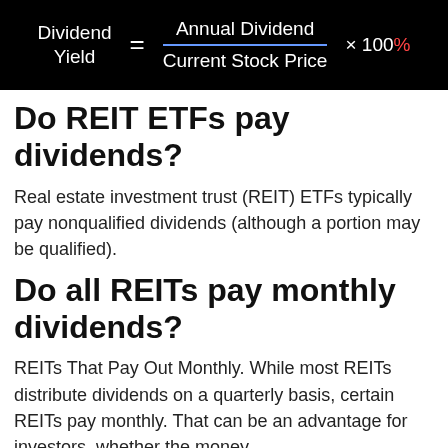[Figure (infographic): Black background formula box showing: Dividend Yield = Annual Dividend / Current Stock Price × 100%]
Do REIT ETFs pay dividends?
Real estate investment trust (REIT) ETFs typically pay nonqualified dividends (although a portion may be qualified).
Do all REITs pay monthly dividends?
REITs That Pay Out Monthly. While most REITs distribute dividends on a quarterly basis, certain REITs pay monthly. That can be an advantage for investors, whether the money is used for reinvestment or as a source of...